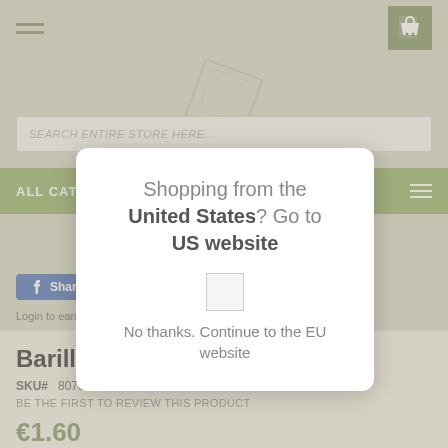ALL CATEGORIES
SEARCH ENTIRE STORE HERE...
Shopping from the United States? Go to US website
Share  Tweet  Pin it  Refer Friends
Login to earn Reward Points for sharing
Barilla - Bucatini (500 gr)
SKU#  8076800315097
BE THE FIRST TO REVIEW THIS PRODUCT
€1.60
No thanks. Continue to the EU website